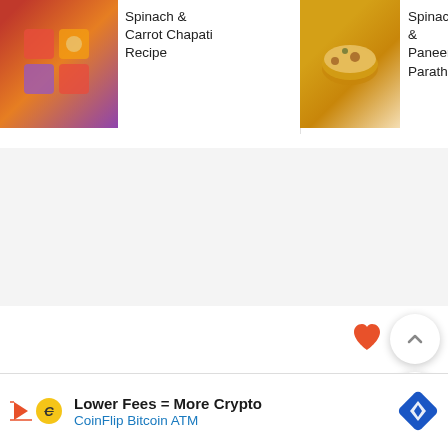[Figure (screenshot): Recipe thumbnail: Spinach & Carrot Chapati Recipe - colorful food image]
Spinach & Carrot Chapati Recipe
[Figure (screenshot): Recipe thumbnail: Spinach & Paneer Paratha... - chapati/paratha image]
Spinach & Paneer Paratha...
[Figure (screenshot): Recipe thumbnail: Spinach Cauliflower Soup - green soup image]
Spinach Cauliflower Soup
Subscribe
[Figure (screenshot): UI elements: heart icons, up caret button, search button, close X, and advertisement bar showing 'Lower Fees = More Crypto - CoinFlip Bitcoin ATM']
Lower Fees = More Crypto
CoinFlip Bitcoin ATM